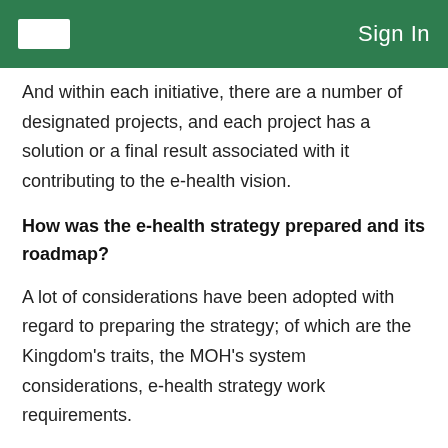Sign In
And within each initiative, there are a number of designated projects, and each project has a solution or a final result associated with it contributing to the e-health vision.
How was the e-health strategy prepared and its roadmap?
A lot of considerations have been adopted with regard to preparing the strategy; of which are the Kingdom's traits, the MOH's system considerations, e-health strategy work requirements.
All over the world, countries adopt the e-health